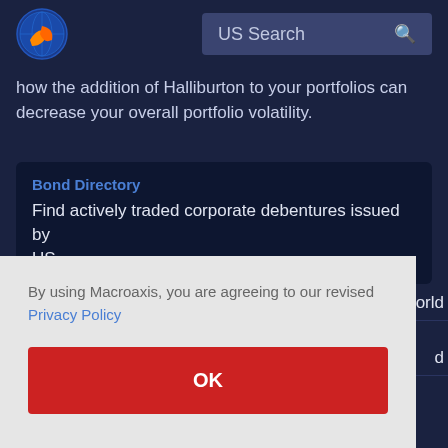[Figure (logo): Macroaxis circular logo with orange and blue design]
US Search
how the addition of Halliburton to your portfolios can decrease your overall portfolio volatility.
Bond Directory
Find actively traded corporate debentures issued by US...
orld
d
By using Macroaxis, you are agreeing to our revised Privacy Policy
OK
Commodity Channel Index